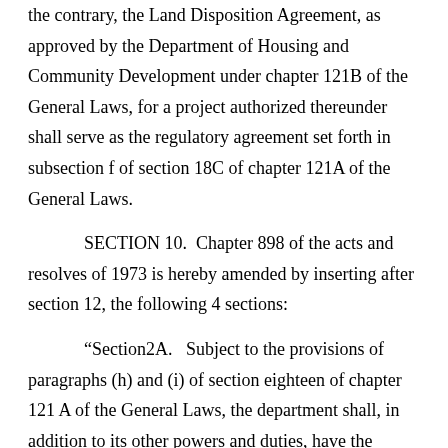the contrary, the Land Disposition Agreement, as approved by the Department of Housing and Community Development under chapter 121B of the General Laws, for a project authorized thereunder shall serve as the regulatory agreement set forth in subsection f of section 18C of chapter 121A of the General Laws.
SECTION 10. Chapter 898 of the acts and resolves of 1973 is hereby amended by inserting after section 12, the following 4 sections:
“Section2A. Subject to the provisions of paragraphs (h) and (i) of section eighteen of chapter 121 A of the General Laws, the department shall, in addition to its other powers and duties, have the powers and perform the duties from time to time conferred or imposed upon the state housing board by the provisions of section A, as approved A of the